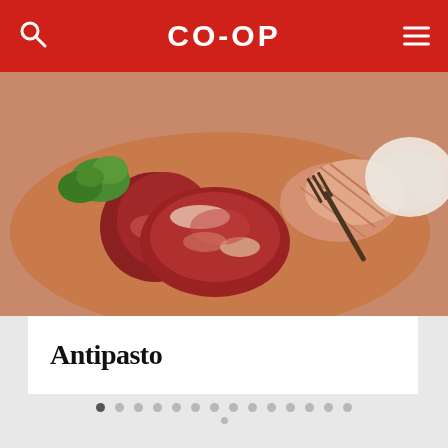CO-OP
[Figure (photo): Photo of antipasto platter with sliced meats, salami, prosciutto, parsley garnish, and a wooden fork on a cutting board]
Antipasto
[Figure (other): Carousel pagination dots — 14 dots in top row (first active), 1 dot in second row]
Cal & Gary's Curated for Calgarians
Who are Cal & Gary? Well, (hold on to your once a year cowboy hat) Cal & Gary are all of us – that's right, every